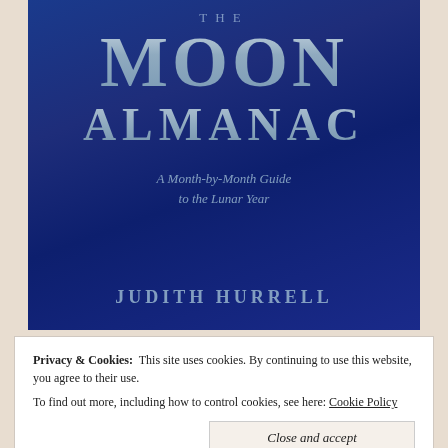[Figure (illustration): Book cover of 'The Moon Almanac' by Judith Hurrell. Deep blue gradient background. Large stylized silver-blue text reading 'MOON' and 'ALMANAC' with smaller 'The' above. Italic subtitle 'A Month-by-Month Guide to the Lunar Year'. Author name 'JUDITH HURRELL' at the bottom.]
Privacy & Cookies:  This site uses cookies. By continuing to use this website, you agree to their use.
To find out more, including how to control cookies, see here: Cookie Policy
Close and accept
[Figure (illustration): Partial bottom strip showing a blue illustrated book cover with decorative linear pattern.]